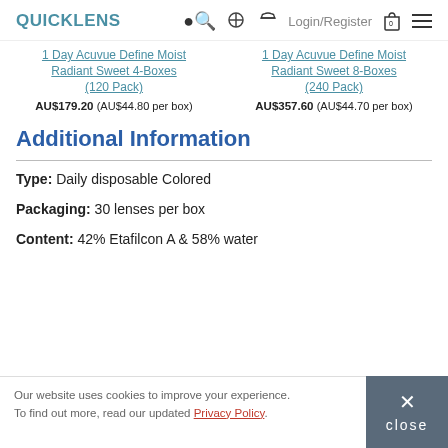QUICKLENS | Login/Register
1 Day Acuvue Define Moist Radiant Sweet 4-Boxes (120 Pack)
AU$179.20 (AU$44.80 per box)
1 Day Acuvue Define Moist Radiant Sweet 8-Boxes (240 Pack)
AU$357.60 (AU$44.70 per box)
Additional Information
Type: Daily disposable Colored
Packaging: 30 lenses per box
Content: 42% Etafilcon A & 58% water
Our website uses cookies to improve your experience. To find out more, read our updated Privacy Policy.